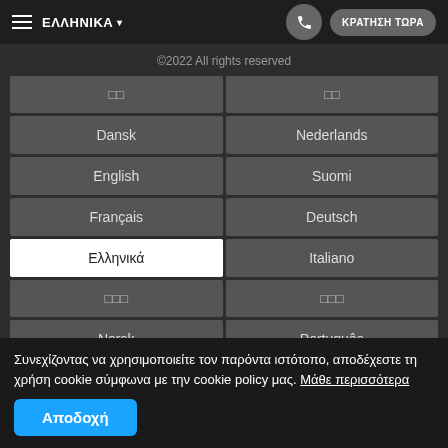≡ ΕΛΛΗΝΙΚΑ ▾  📞  ΚΡΑΤΗΣΗ ΤΩΡΑ
©2022 All rights reserved
| □□ | □□ |
| Dansk | Nederlands |
| English | Suomi |
| Français | Deutsch |
| Ελληνικά | Italiano |
| □□□ | □□□ |
| Norsk | Português |
Συνεχίζοντας να χρησιμοποιείτε τον παρόντα ιστότοπο, αποδέχεστε τη χρήση cookie σύμφωνα με την cookie policy μας. Μάθε περισσότερα
Αποδοχή